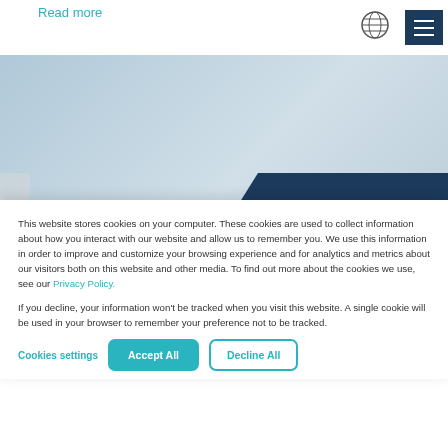Read more
[Figure (logo): ISI logo — stylized bird/heron with text 'isi' and tagline below]
[Figure (screenshot): Website screenshot showing partial page background with teal/blue tones and a dark navy banner strip]
This website stores cookies on your computer. These cookies are used to collect information about how you interact with our website and allow us to remember you. We use this information in order to improve and customize your browsing experience and for analytics and metrics about our visitors both on this website and other media. To find out more about the cookies we use, see our Privacy Policy.

If you decline, your information won't be tracked when you visit this website. A single cookie will be used in your browser to remember your preference not to be tracked.
Cookies settings
Accept All
Decline All